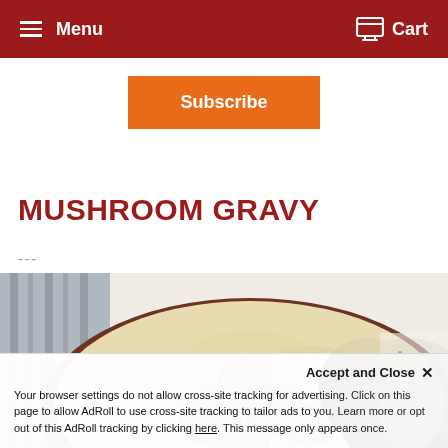Menu   Cart
Subscribe
MUSHROOM GRAVY
---
[Figure (photo): A bowl of meatballs in mushroom gravy sauce served over mashed potatoes, garnished with chopped parsley, viewed from above on a white surface with a striped cloth napkin.]
Accept and Close ✕
Your browser settings do not allow cross-site tracking for advertising. Click on this page to allow AdRoll to use cross-site tracking to tailor ads to you. Learn more or opt out of this AdRoll tracking by clicking here. This message only appears once.